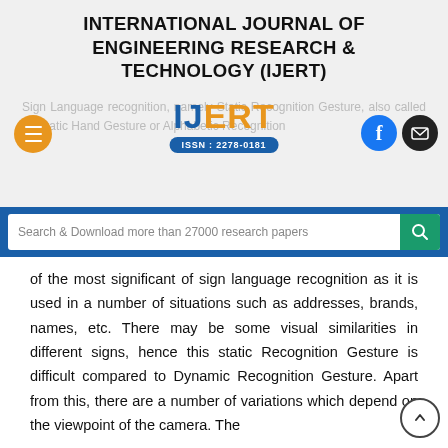INTERNATIONAL JOURNAL OF ENGINEERING RESEARCH & TECHNOLOGY (IJERT)
[Figure (logo): IJERT logo with orange and blue text, ISSN: 2278-0181 badge, navigation icons including hamburger menu, Facebook and email buttons]
Search & Download more than 27000 research papers
of the most significant of sign language recognition as it is used in a number of situations such as addresses, brands, names, etc. There may be some visual similarities in different signs, hence this static Recognition Gesture is difficult compared to Dynamic Recognition Gesture. Apart from this, there are a number of variations which depend on the viewpoint of the camera. The